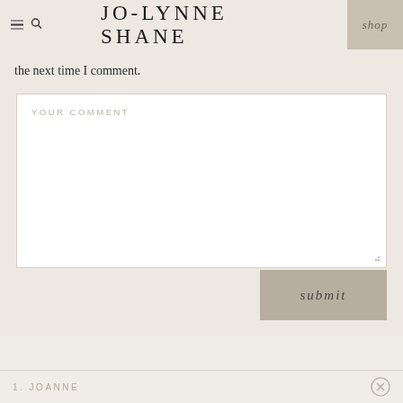JO-LYNNE SHANE | shop
the next time I comment.
[Figure (screenshot): Comment form textarea with placeholder text 'YOUR COMMENT' and a submit button]
1. JOANNE